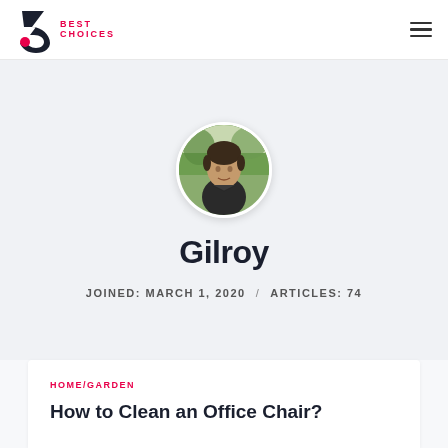Best Choices — navigation header with logo and hamburger menu
[Figure (photo): Circular profile photo of a young man outdoors with trees in background]
Gilroy
JOINED: MARCH 1, 2020 / ARTICLES: 74
HOME/GARDEN
How to Clean an Office Chair?